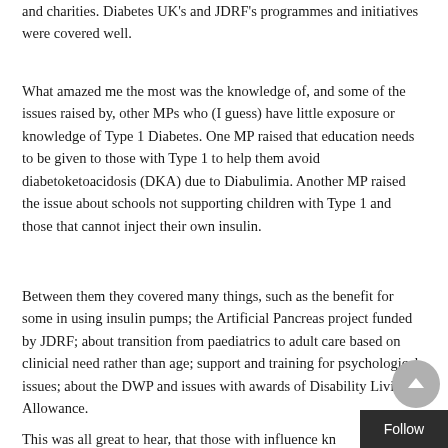and charities. Diabetes UK's and JDRF's programmes and initiatives were covered well.
What amazed me the most was the knowledge of, and some of the issues raised by, other MPs who (I guess) have little exposure or knowledge of Type 1 Diabetes. One MP raised that education needs to be given to those with Type 1 to help them avoid diabetoketoacidosis (DKA) due to Diabulimia. Another MP raised the issue about schools not supporting children with Type 1 and those that cannot inject their own insulin.
Between them they covered many things, such as the benefit for some in using insulin pumps; the Artificial Pancreas project funded by JDRF; about transition from paediatrics to adult care based on clinicial need rather than age; support and training for psychological issues; about the DWP and issues with awards of Disability Living Allowance.
This was all great to hear, that those with influence kn